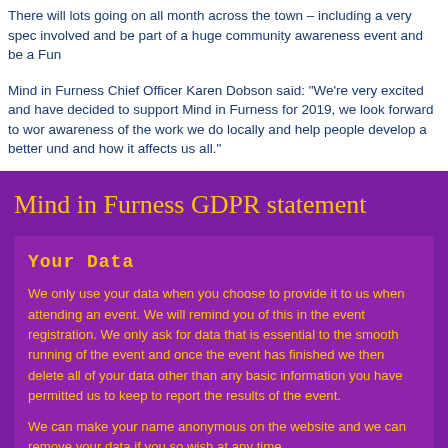There will lots going on all month across the town – including a very spec involved and be part of a huge community awareness event and be a Fun
Mind in Furness Chief Officer Karen Dobson said: "We're very excited and have decided to support Mind in Furness for 2019, we look forward to wor awareness of the work we do locally and help people develop a better und and how it affects us all."
Mind in Furness GDPR statement
Your Data
We only use your data when you choose to provide it to us when attending an event. We will remind you of this in the event registration. We only ask for data that is essential to the smooth running of the event and once the event has finished we then delete all of your data other than any basic information you have permitted us to keep to report the results of the event.
We can make your name anonymous on the website and we can remove your data if you so wish at any time.